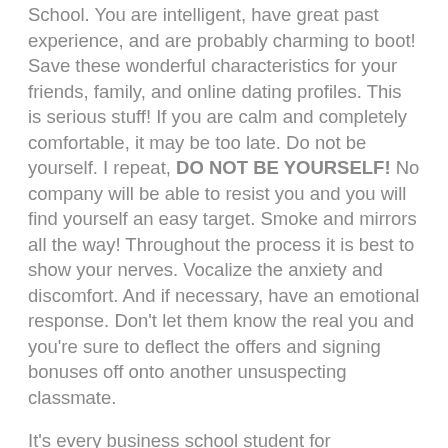School. You are intelligent, have great past experience, and are probably charming to boot! Save these wonderful characteristics for your friends, family, and online dating profiles. This is serious stuff! If you are calm and completely comfortable, it may be too late. Do not be yourself. I repeat, DO NOT BE YOURSELF! No company will be able to resist you and you will find yourself an easy target. Smoke and mirrors all the way! Throughout the process it is best to show your nerves. Vocalize the anxiety and discomfort. And if necessary, have an emotional response. Don't let them know the real you and you're sure to deflect the offers and signing bonuses off onto another unsuspecting classmate.
It's every business school student for themselves out there! You don't have to be the best at these diversion methods, but you certainly have to be better at them than your classmates and the other business school students around the country who are facing the exact same job offer. Take these to heart...